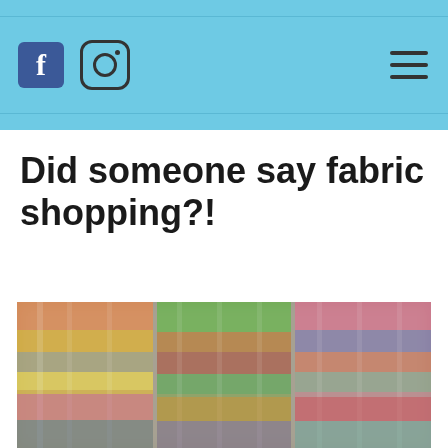Facebook and Instagram social media icons with hamburger menu
Did someone say fabric shopping?!
[Figure (photo): Blurred image of colorful fabric bolts displayed in a store, showing multiple rows of fabrics in various colors including red, green, blue, yellow, and pink, arranged side by side.]